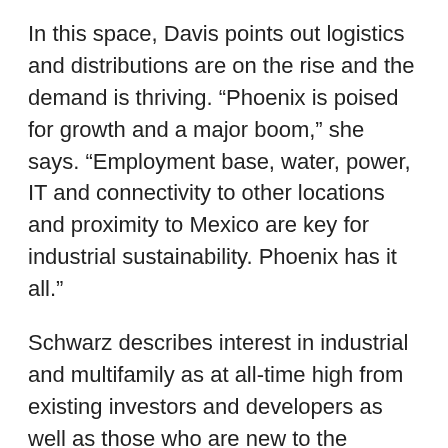In this space, Davis points out logistics and distributions are on the rise and the demand is thriving. “Phoenix is poised for growth and a major boom,” she says. “Employment base, water, power, IT and connectivity to other locations and proximity to Mexico are key for industrial sustainability. Phoenix has it all.”
Schwarz describes interest in industrial and multifamily as at all-time high from existing investors and developers as well as those who are new to the Phoenix market, noting that while tenant demand for office has been slow over the past year and the sector has its issues and concerns, it has not stopped capital investment